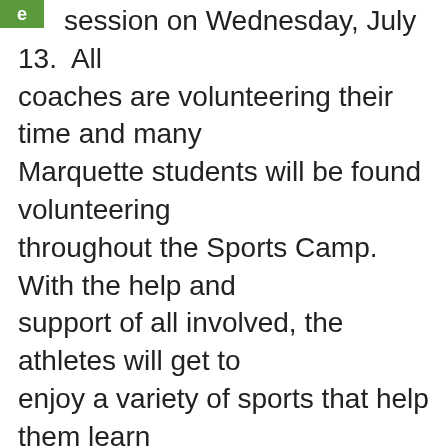swim session on Wednesday, July 13.  All coaches are volunteering their time and many Marquette students will be found volunteering throughout the Sports Camp.  With the help and support of all involved, the athletes will get to enjoy a variety of sports that help them learn new skills, build friendships and socialize with peers.
“Vision Forward is proud to offer the ‘Play it Forward Sports Camp,” said Terri Davis, Executive Director for Vision Forward. “This is an amazing collaborative effort and we strongly believe in its long term impact on the youth. We’re especially proud of the